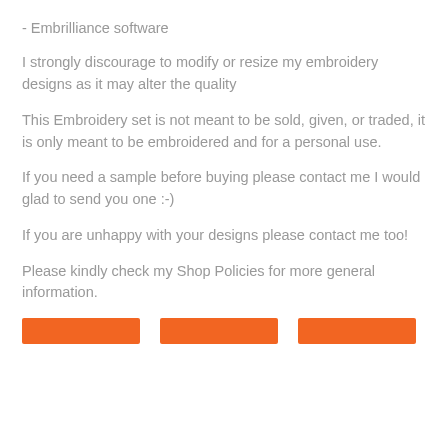- Embrilliance software
I strongly discourage to modify or resize my embroidery designs as it may alter the quality
This Embroidery set is not meant to be sold, given, or traded, it is only meant to be embroidered and for a personal use.
If you need a sample before buying please contact me I would glad to send you one :-)
If you are unhappy with your designs please contact me too!
Please kindly check my Shop Policies for more general information.
[Figure (other): Three orange buttons at the bottom of the page]